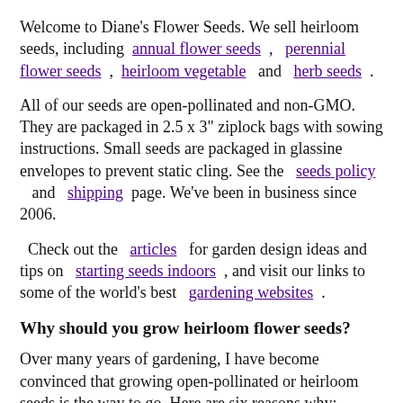Welcome to Diane's Flower Seeds. We sell heirloom seeds, including annual flower seeds , perennial flower seeds , heirloom vegetable and herb seeds .
All of our seeds are open-pollinated and non-GMO. They are packaged in 2.5 x 3" ziplock bags with sowing instructions. Small seeds are packaged in glassine envelopes to prevent static cling. See the seeds policy and shipping page. We've been in business since 2006.
Check out the articles for garden design ideas and tips on starting seeds indoors , and visit our links to some of the world's best gardening websites .
Why should you grow heirloom flower seeds?
Over many years of gardening, I have become convinced that growing open-pollinated or heirloom seeds is the way to go. Here are six reasons why:
1. Open-pollinated flowers have more vigor than most